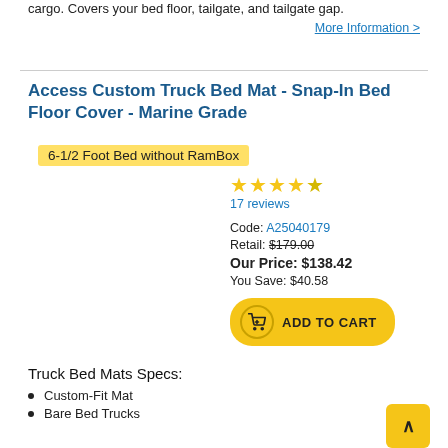cargo. Covers your bed floor, tailgate, and tailgate gap. More Information >
Access Custom Truck Bed Mat - Snap-In Bed Floor Cover - Marine Grade
6-1/2 Foot Bed without RamBox
[Figure (other): Star rating: 4 out of 5 stars]
17 reviews
Code: A25040179
Retail: $179.00
Our Price: $138.42
You Save: $40.58
[Figure (other): ADD TO CART button with cart icon]
Truck Bed Mats Specs:
Custom-Fit Mat
Bare Bed Trucks